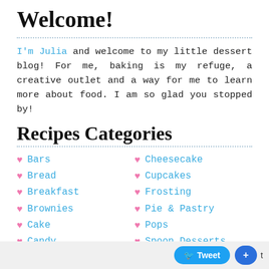Welcome!
I'm Julia and welcome to my little dessert blog! For me, baking is my refuge, a creative outlet and a way for me to learn more about food. I am so glad you stopped by!
Recipes Categories
Bars
Cheesecake
Bread
Cupcakes
Breakfast
Frosting
Brownies
Pie & Pastry
Cake
Pops
Candy
Spoon Desserts